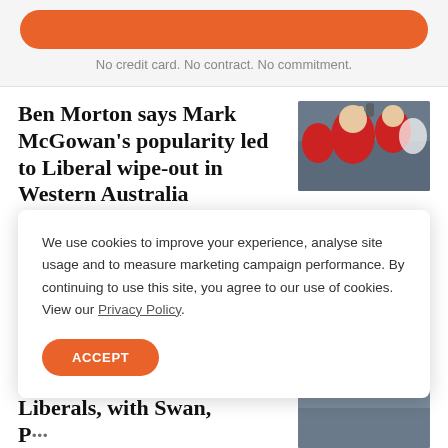No credit card. No contract. No commitment.
Ben Morton says Mark McGowan's popularity led to Liberal wipe-out in Western Australia
[Figure (photo): People in red shirts celebrating at what appears to be a Labor election victory party, a woman in the foreground cheering.]
Labor picked up at least four seats from the Liberals in
We use cookies to improve your experience, analyse site usage and to measure marketing campaign performance. By continuing to use this site, you agree to our use of cookies. View our Privacy Policy.
ACCEPT
Liberals, with Swan,